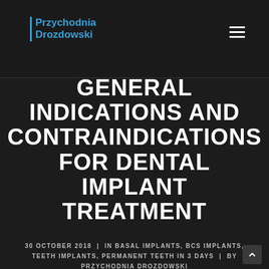Przychodnia Drozdowski
GENERAL INDICATIONS AND CONTRAINDICATIONS FOR DENTAL IMPLANT TREATMENT
30 OCTOBER 2018 | IN BASAL IMPLANTS, BCS IMPLANTS, TEETH IMPLANTS, PERMANENT TEETH IN 3 DAYS | BY PRZYCHODNIA DROZDOWSKI